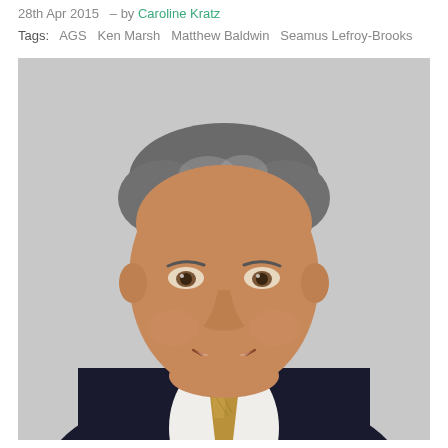28th Apr 2015  – by Caroline Kratz
Tags:  AGS  Ken Marsh  Matthew Baldwin  Seamus Lefroy-Brooks
[Figure (photo): Professional headshot of a middle-aged man with grey hair, wearing a dark suit, white shirt, and a brown/gold patterned tie. He is smiling slightly, photographed against a light grey background.]